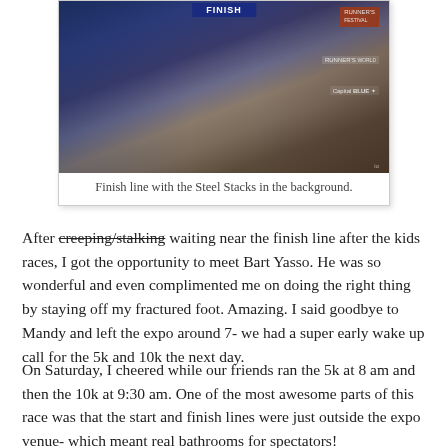[Figure (photo): Finish line arch with Steel Stacks industrial structures visible in the background. Sponsors including Capital Blue visible on banners. Race expo finish line setup.]
Finish line with the Steel Stacks in the background.
After creeping/stalking waiting near the finish line after the kids races, I got the opportunity to meet Bart Yasso. He was so wonderful and even complimented me on doing the right thing by staying off my fractured foot. Amazing. I said goodbye to Mandy and left the expo around 7- we had a super early wake up call for the 5k and 10k the next day.
On Saturday, I cheered while our friends ran the 5k at 8 am and then the 10k at 9:30 am. One of the most awesome parts of this race was that the start and finish lines were just outside the expo venue- which meant real bathrooms for spectators!